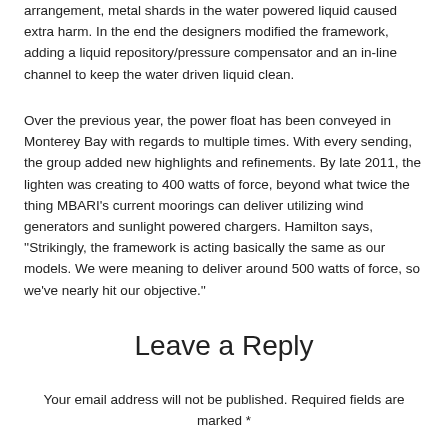arrangement, metal shards in the water powered liquid caused extra harm. In the end the designers modified the framework, adding a liquid repository/pressure compensator and an in-line channel to keep the water driven liquid clean.
Over the previous year, the power float has been conveyed in Monterey Bay with regards to multiple times. With every sending, the group added new highlights and refinements. By late 2011, the lighten was creating to 400 watts of force, beyond what twice the thing MBARI's current moorings can deliver utilizing wind generators and sunlight powered chargers. Hamilton says, ''Strikingly, the framework is acting basically the same as our models. We were meaning to deliver around 500 watts of force, so we've nearly hit our objective.''
Leave a Reply
Your email address will not be published. Required fields are marked *